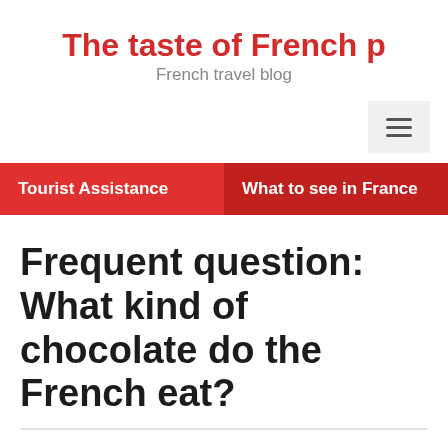The taste of French p
French travel blog
Tourist Assistance
What to see in France
Frequent question: What kind of chocolate do the French eat?